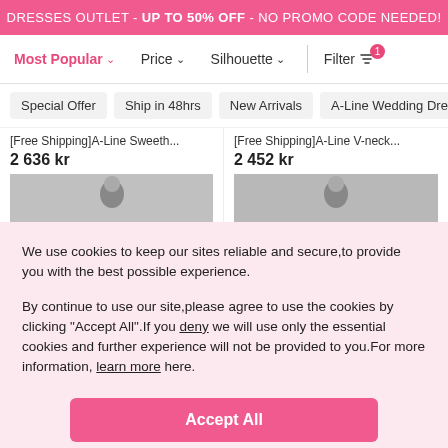DRESSES OUTLET - UP TO 50% OFF - NO PROMO CODE NEEDED!
Most Popular ∨   Price ∨   Silhouette ∨   Filter 1
Special Offer
Ship in 48hrs
New Arrivals
A-Line Wedding Dre
[Free Shipping]A-Line Sweeth...
2 636 kr
[Free Shipping]A-Line V-neck...
2 452 kr
We use cookies to keep our sites reliable and secure,to provide you with the best possible experience.
By continue to use our site,please agree to use the cookies by clicking "Accept All".If you deny we will use only the essential cookies and further experience will not be provided to you.For more information, learn more here.
Accept All
Cookie Settings >